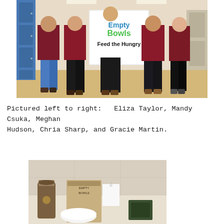[Figure (photo): Five students in maroon shirts standing in a school hallway holding a large sign that reads 'Empty Bowls Feed the Hungry' with colorful lettering. Blue lockers visible on the left side.]
Pictured left to right:   Eliza Taylor, Mandy Csuka, Meghan Hudson, Chria Sharp, and Gracie Martin.
[Figure (photo): A table display with items related to Empty Bowls event, including a jar, a paper bag labeled 'Empty Bowls', a white price tag, a white bowl, and other items on a surface.]